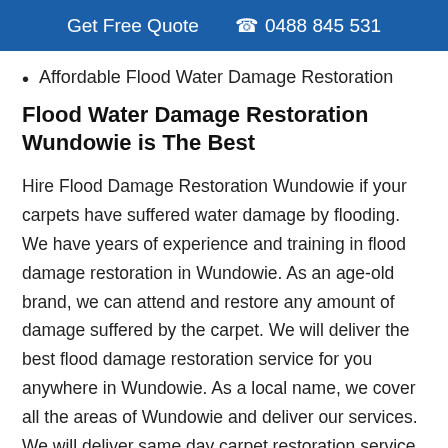Get Free Quote  📞 0488 845 531
Affordable Flood Water Damage Restoration
Flood Water Damage Restoration Wundowie is The Best
Hire Flood Damage Restoration Wundowie if your carpets have suffered water damage by flooding. We have years of experience and training in flood damage restoration in Wundowie. As an age-old brand, we can attend and restore any amount of damage suffered by the carpet. We will deliver the best flood damage restoration service for you anywhere in Wundowie. As a local name, we cover all the areas of Wundowie and deliver our services. We will deliver same day carpet restoration service for you to save time. Hygiene of the carpets can also be restored using natural sanitising agents and products. We will remove all the germs and